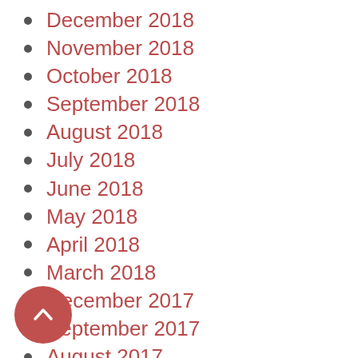December 2018
November 2018
October 2018
September 2018
August 2018
July 2018
June 2018
May 2018
April 2018
March 2018
December 2017
September 2017
August 2017
July 2017
June 2017
May 2017